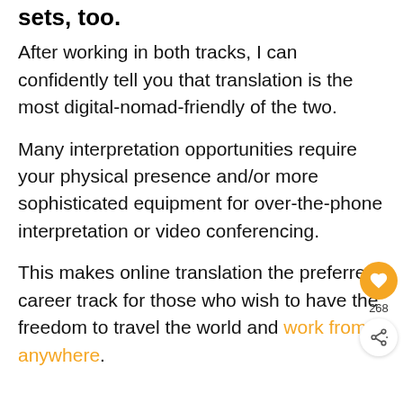sets, too.
After working in both tracks, I can confidently tell you that translation is the most digital-nomad-friendly of the two.
Many interpretation opportunities require your physical presence and/or more sophisticated equipment for over-the-phone interpretation or video conferencing.
This makes online translation the preferred career track for those who wish to have the freedom to travel the world and work from anywhere.